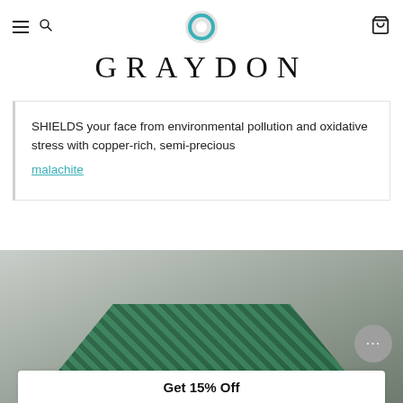Graydon navigation bar with hamburger menu, search icon, logo, and cart icon
GRAYDON
SHIELDS your face from environmental pollution and oxidative stress with copper-rich, semi-precious malachite
[Figure (screenshot): Video thumbnail showing a woman in a green patterned shirt with Face Food label and Graydon circle logo overlay]
Get 15% Off